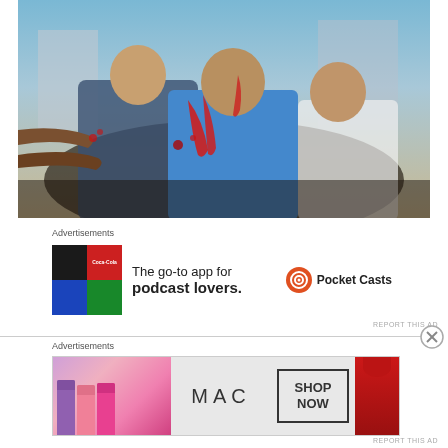[Figure (photo): News photograph showing injured people with blood on hands and faces, being helped by others during what appears to be a civil unrest or conflict situation]
Advertisements
[Figure (other): Advertisement for Pocket Casts app: colorful grid logo, text 'The go-to app for podcast lovers.' and Pocket Casts logo with icon]
REPORT THIS AD
Advertisements
[Figure (other): Advertisement for MAC cosmetics showing lipsticks in purple, pink and red colors, MAC logo text, and a 'SHOP NOW' box]
REPORT THIS AD